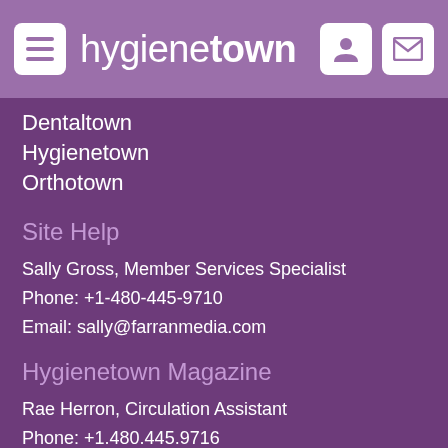hygienetown
Dentaltown
Hygienetown
Orthotown
Site Help
Sally Gross, Member Services Specialist
Phone: +1-480-445-9710
Email: sally@farranmedia.com
Hygienetown Magazine
Rae Herron, Circulation Assistant
Phone: +1.480.445.9716
Email: rae@farranmedia.com
Follow Hygienetown
[Figure (other): Social media icons: Facebook, Twitter, LinkedIn, Instagram]